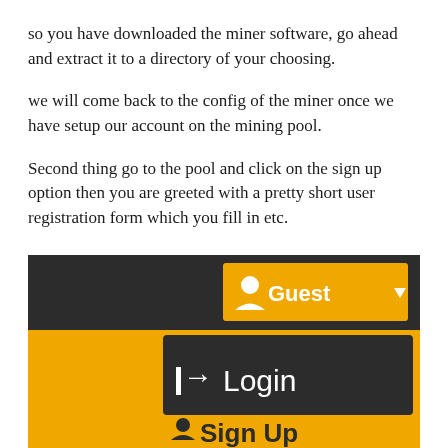so you have downloaded the miner software, go ahead and extract it to a directory of your choosing.
we will come back to the config of the miner once we have setup our account on the mining pool.
Second thing go to the pool and click on the sign up option then you are greeted with a pretty short user registration form which you fill in etc.
[Figure (screenshot): Screenshot of a mining pool website interface showing a dark navigation bar with a yellow 'Guest' dropdown button at the top right, and below it a dark panel with a 'Login' button (arrow icon) and partially visible 'Sign Up' button at the bottom, all on a yellow background.]